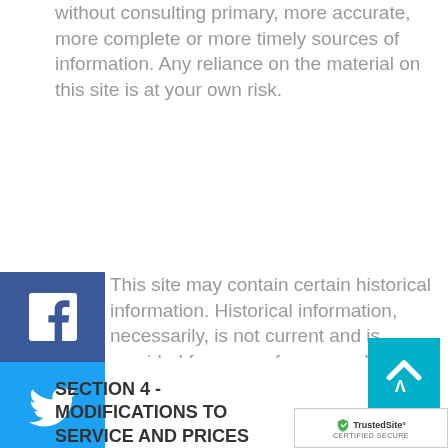without consulting primary, more accurate, more complete or more timely sources of information. Any reliance on the material on this site is at your own risk.
This site may contain certain historical information. Historical information, necessarily, is not current and is provided for your reference only. We reserve the right to modify the contents of this site at any time, but we have no obligation to update any information on our site. You agree that it is your responsibility to monitor changes to our site.
[Figure (other): Social media share buttons: Facebook, Twitter, Pinterest, YouTube, Instagram]
SECTION 4 - MODIFICATIONS TO SERVICE AND PRICES